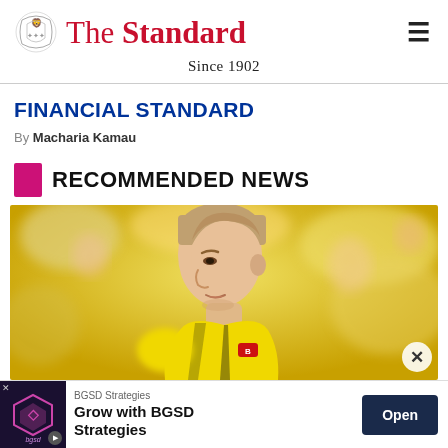The Standard — Since 1902
FINANCIAL STANDARD
By Macharia Kamau
RECOMMENDED NEWS
[Figure (photo): A football player in a yellow and black Bundesliga jersey, profile view, with blurred crowd in background]
BGSD Strategies — Grow with BGSD Strategies — Open